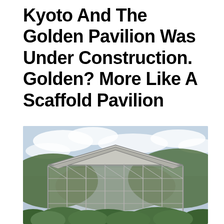Kyoto And The Golden Pavilion Was Under Construction. Golden? More Like A Scaffold Pavilion
[Figure (photo): A large traditional Japanese building (the Golden Pavilion / Kinkaku-ji) completely encased in scaffolding and construction frameworks, surrounded by green trees and shrubs with hills and a partly cloudy sky in the background.]